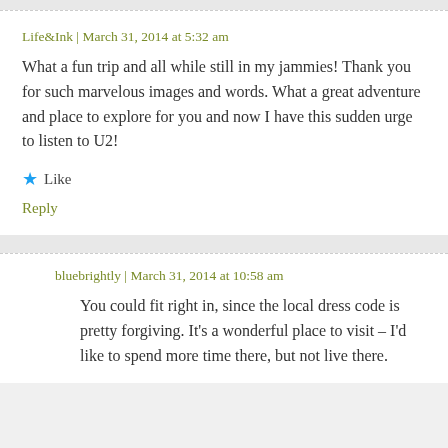Life&Ink | March 31, 2014 at 5:32 am
What a fun trip and all while still in my jammies! Thank you for such marvelous images and words. What a great adventure and place to explore for you and now I have this sudden urge to listen to U2!
★ Like
Reply
bluebrightly | March 31, 2014 at 10:58 am
You could fit right in, since the local dress code is pretty forgiving. It's a wonderful place to visit – I'd like to spend more time there, but not live there.